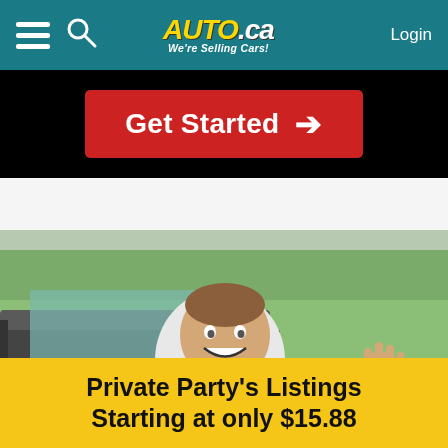AUTO.ca We're Selling Cars! Login
Get Started →
[Figure (photo): Young man sitting in driver seat of a vehicle, smiling and holding up car keys toward the camera]
Private Party's Listings Starting at only $15.88